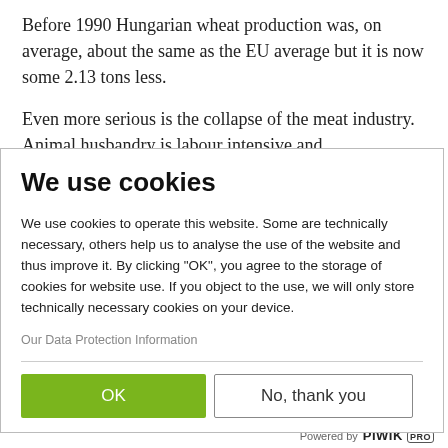Before 1990 Hungarian wheat production was, on average, about the same as the EU average but it is now some 2.13 tons less.
Even more serious is the collapse of the meat industry. Animal husbandry is labour intensive and
We use cookies
We use cookies to operate this website. Some are technically necessary, others help us to analyse the use of the website and thus improve it. By clicking "OK", you agree to the storage of cookies for website use. If you object to the use, we will only store technically necessary cookies on your device.
Our Data Protection Information
OK
No, thank you
Powered by PIWIK PRO